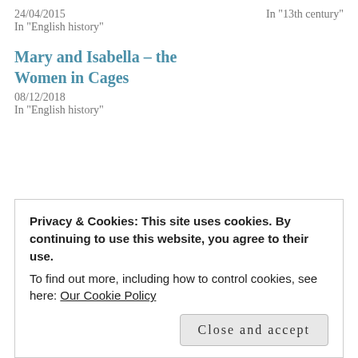24/04/2015
In "13th century"
In "English history"
Mary and Isabella – the Women in Cages
08/12/2018
In "English history"
📁 13th century, 14th century, English history, European History, Medieval History, Medieval Women, Plantagenets, Scottish history, Women's History
🏷 Christian Bruce, David II, Defenders of the Norman Crown, Defenders of the Norman Crown: Rise and Fall of the Warenne Earls
Privacy & Cookies: This site uses cookies. By continuing to use this website, you agree to their use. To find out more, including how to control cookies, see here: Our Cookie Policy